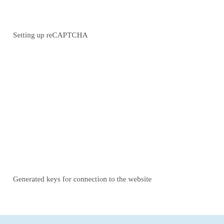Setting up reCAPTCHA
Generated keys for connection to the website